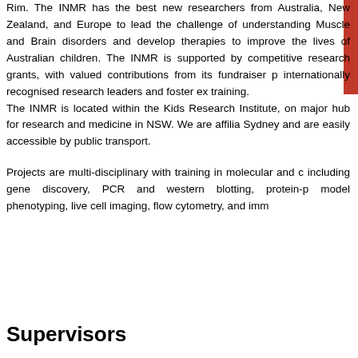Rim. The INMR has the best new researchers from Australia, New Zealand, and Europe to lead the challenge of understanding Muscle and Brain disorders and develop therapies to improve the lives of Australian children. The INMR is supported by competitive research grants, with valued contributions from its fundraiser p internationally recognised research leaders and foster ex training.
The INMR is located within the Kids Research Institute, on major hub for research and medicine in NSW. We are affilia Sydney and are easily accessible by public transport.
Projects are multi-disciplinary with training in molecular and c including gene discovery, PCR and western blotting, protein-p model phenotyping, live cell imaging, flow cytometry, and imm
Supervisors